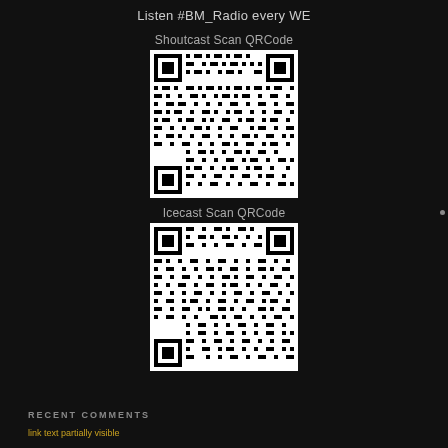Listen #BM_Radio every WE
Shoutcast Scan QRCode
[Figure (other): QR code for Shoutcast stream]
Icecast Scan QRCode
[Figure (other): QR code for Icecast stream]
RECENT COMMENTS
link text partially visible